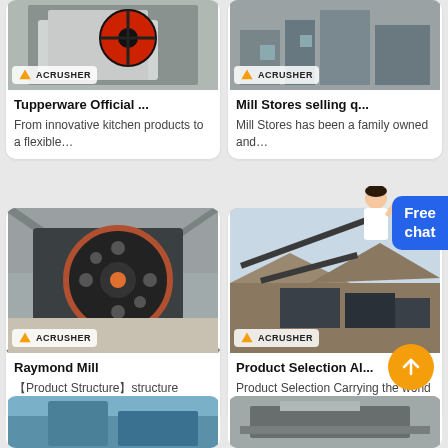[Figure (photo): Industrial crusher machine with red flywheel, ACRUSHER branding]
Tupperware Official ...
From innovative kitchen products to a flexible…
[Figure (photo): Industrial mill equipment in factory, ACRUSHER branding]
Mill Stores selling q...
Mill Stores has been a family owned and…
[Figure (photo): Large jaw crusher machine with black flywheel in industrial building, ACRUSHER branding]
Raymond Mill
【Product Structure】structure Raymond Mi…
[Figure (photo): Outdoor quarry conveyor belt and crusher plant, ACRUSHER branding]
Product Selection Al...
Product Selection Carrying the world s…
[Figure (photo): Partial bottom card - blue/teal industrial equipment]
[Figure (photo): Partial bottom card - industrial machinery]